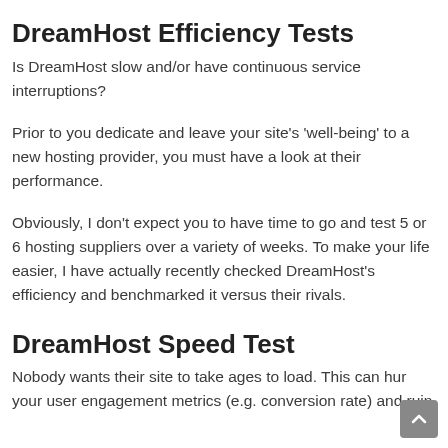DreamHost Efficiency Tests
Is DreamHost slow and/or have continuous service interruptions?
Prior to you dedicate and leave your site’s ‘well-being’ to a new hosting provider, you must have a look at their performance.
Obviously, I don’t expect you to have time to go and test 5 or 6 hosting suppliers over a variety of weeks. To make your life easier, I have actually recently checked DreamHost’s efficiency and benchmarked it versus their rivals.
DreamHost Speed Test
Nobody wants their site to take ages to load. This can hur your user engagement metrics (e.g. conversion rate) and ruin